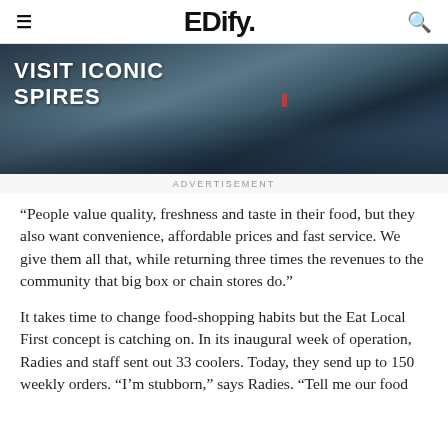EDify.
[Figure (photo): Dark rocky mountain landscape with snow and ice, with text overlay reading 'VISIT ICONIC SPIRES' in white bold uppercase letters. A person in a red jacket is visible in the distance.]
ADVERTISEMENT
“People value quality, freshness and taste in their food, but they also want convenience, affordable prices and fast service. We give them all that, while returning three times the revenues to the community that big box or chain stores do.”
It takes time to change food-shopping habits but the Eat Local First concept is catching on. In its inaugural week of operation, Radies and staff sent out 33 coolers. Today, they send up to 150 weekly orders. “I’m stubborn,” says Radies. “Tell me our food